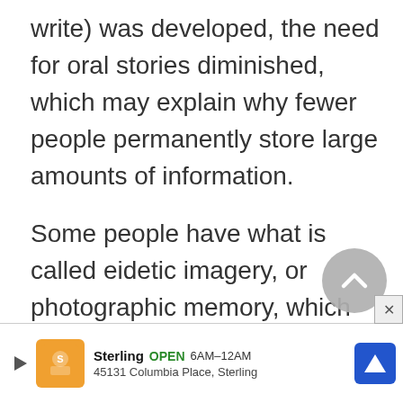write) was developed, the need for oral stories diminished, which may explain why fewer people permanently store large amounts of information.
Some people have what is called eidetic imagery, or photographic memory, which enables them to take a picture of information and then use that picture to retrieve the information later. This picture is not just stored by sight. It can also be recorded through sou[nd/...]e,
[Figure (screenshot): Back-to-top circular button (grey circle with upward chevron arrow)]
[Figure (screenshot): Advertisement banner: Sterling OPEN 6AM-12AM, 45131 Columbia Place, Sterling, with restaurant logo and blue navigation arrow]